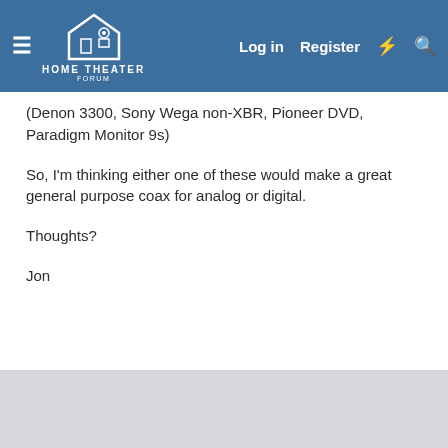Home Theater Forum — Log in | Register
(Denon 3300, Sony Wega non-XBR, Pioneer DVD, Paradigm Monitor 9s)
So, I'm thinking either one of these would make a great general purpose coax for analog or digital.
Thoughts?
Jon